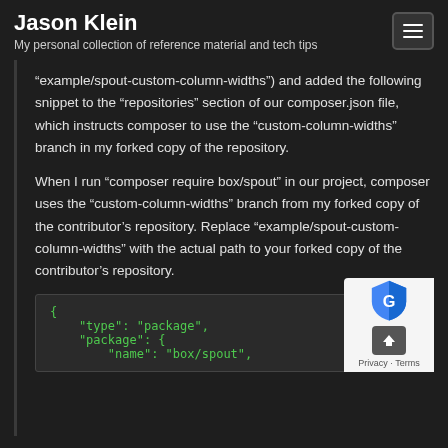Jason Klein
My personal collection of reference material and tech tips
“example/spout-custom-column-widths”) and added the following snippet to the “repositories” section of our composer.json file, which instructs composer to use the “custom-column-widths” branch in my forked copy of the repository.
When I run “composer require box/spout” in our project, composer uses the “custom-column-widths” branch from my forked copy of the contributor’s repository. Replace “example/spout-custom-column-widths” with the actual path to your forked copy of the contributor’s repository.
[Figure (screenshot): Code block showing JSON snippet with 'type': 'package', 'package': { and beginning of 'name': 'box/spout' in green monospace font on dark background]